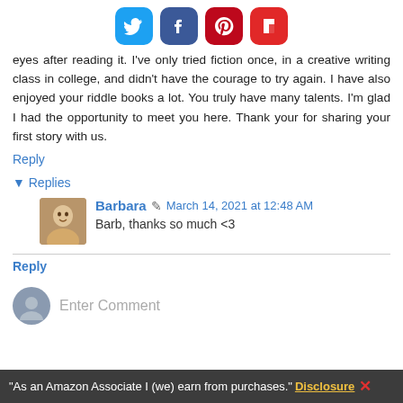[Figure (other): Social sharing icons: Twitter (blue), Facebook (dark blue), Pinterest (red), Flipboard (red)]
eyes after reading it. I've only tried fiction once, in a creative writing class in college, and didn't have the courage to try again. I have also enjoyed your riddle books a lot. You truly have many talents. I'm glad I had the opportunity to meet you here. Thank your for sharing your first story with us.
Reply
▾ Replies
Barbara  March 14, 2021 at 12:48 AM
Barb, thanks so much <3
Reply
Enter Comment
"As an Amazon Associate I (we) earn from purchases." Disclosure ✕